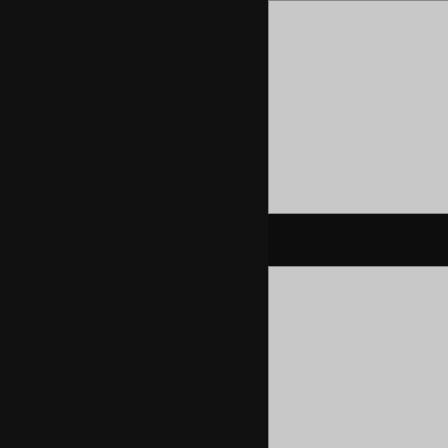[Figure (screenshot): Gray placeholder thumbnail card (top, large left)]
Red XXX Hubs
[Figure (screenshot): Gray placeholder thumbnail card (top, right partial)]
[Figure (screenshot): Gray placeholder thumbnail card (middle, large left)]
Pussy Ones Tube
[Figure (screenshot): Gray placeholder thumbnail card (middle, right partial)]
[Figure (screenshot): Gray placeholder thumbnail card (bottom, large left, partially visible)]
[Figure (screenshot): Gray placeholder thumbnail card (bottom, right partial, partially visible)]